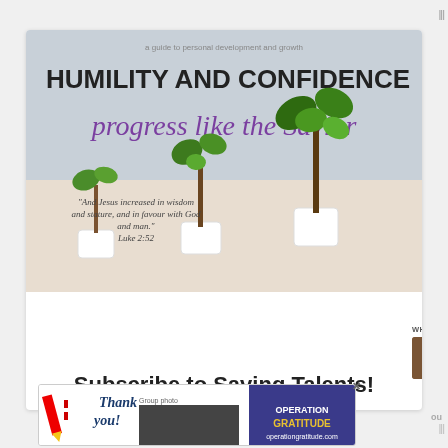[Figure (illustration): Book cover image for 'Humility and Confidence: progress like the Savior' showing three potted plants growing in size from left to right, with a scripture quote from Luke 2:52]
Subscribe to Saving Talents!
[Figure (illustration): Advertisement banner: Operation Gratitude - Thank you, showing firefighters and military imagery]
WHAT'S NEXT → Come Follow Me 6/20/202...